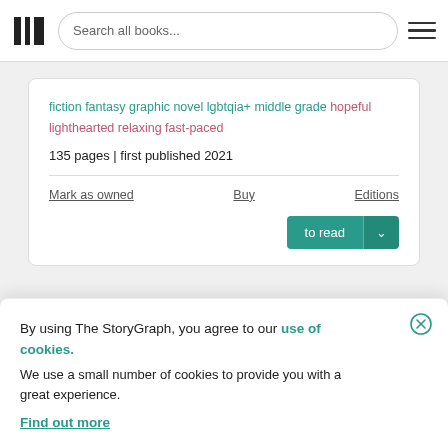Search all books...
fiction fantasy graphic novel lgbtqia+ middle grade hopeful lighthearted relaxing fast-paced
135 pages | first published 2021
Mark as owned   Buy   Editions
to read
By using The StoryGraph, you agree to our use of cookies.
We use a small number of cookies to provide you with a great experience.
Find out more
heartwarming conclusion of the award-